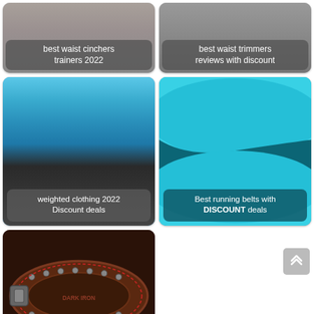[Figure (photo): Waist cinchers trainers 2022 product thumbnail with text overlay]
[Figure (photo): Best waist trimmers reviews with discount product thumbnail with text overlay]
[Figure (photo): Weighted clothing 2022 Discount deals - person wearing weighted belt in blue athletic outfit]
[Figure (photo): Best running belts with DISCOUNT deals - close-up of cyan/teal running belt]
[Figure (photo): Best weight lifting belts Discount Deals - dark leather weightlifting belt with rivets]
[Figure (other): Scroll to top button (double chevron up arrow on grey background)]